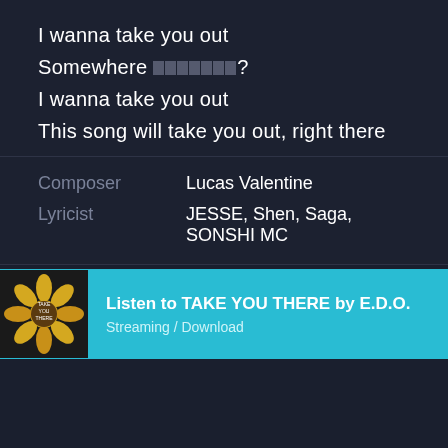I wanna take you out
Somewhere [tofu characters]?
I wanna take you out
This song will take you out, right there
Composer: Lucas Valentine
Lyricist: JESSE, Shen, Saga, SONSHI MC
Listen to TAKE YOU THERE by E.D.O. Streaming / Download